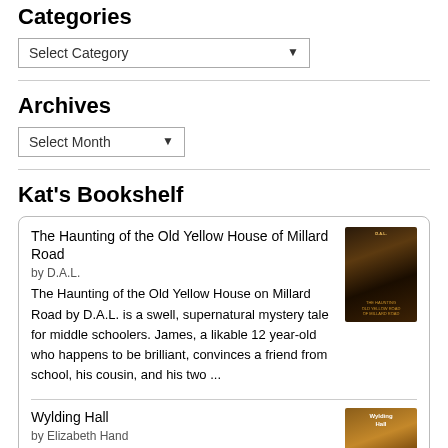Categories
Select Category
Archives
Select Month
Kat's Bookshelf
The Haunting of the Old Yellow House of Millard Road
by D.A.L.
The Haunting of the Old Yellow House on Millard Road by D.A.L. is a swell, supernatural mystery tale for middle schoolers. James, a likable 12 year-old who happens to be brilliant, convinces a friend from school, his cousin, and his two ...
Wylding Hall
by Elizabeth Hand
Wylding Hall by Elizabeth Hand is a wonderfully written